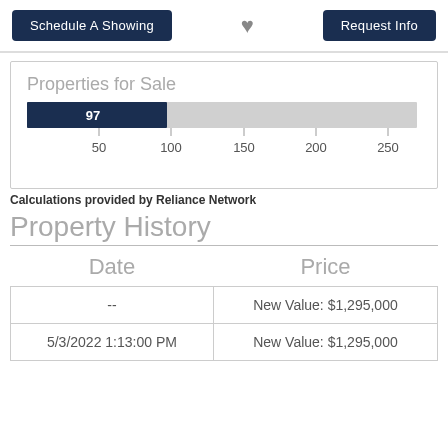Schedule A Showing | Request Info
[Figure (bar-chart): Properties for Sale]
Calculations provided by Reliance Network
Property History
| Date | Price |
| --- | --- |
| -- | New Value: $1,295,000 |
| 5/3/2022 1:13:00 PM | New Value: $1,295,000 |